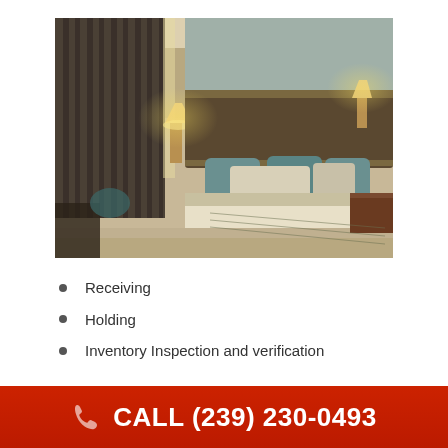[Figure (photo): Hotel room with a large bed with green/teal decorative pillows and dark olive bedding, warm lighting from bedside lamps, dark curtains in the background, wooden headboard and nightstand.]
Receiving
Holding
Inventory Inspection and verification
CALL (239) 230-0493